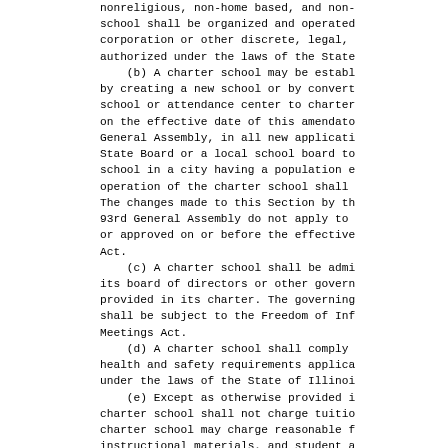nonreligious, non-home based, and non-school shall be organized and operated corporation or other discrete, legal, authorized under the laws of the State
    (b) A charter school may be establ by creating a new school or by convert school or attendance center to charter on the effective date of this amendato General Assembly, in all new applicati State Board or a local school board to school in a city having a population e operation of the charter school shall The changes made to this Section by th 93rd General Assembly do not apply to or approved on or before the effective Act.
    (c) A charter school shall be admi its board of directors or other govern provided in its charter. The governing shall be subject to the Freedom of Inf Meetings Act.
    (d) A charter school shall comply health and safety requirements applica under the laws of the State of Illinoi
    (e) Except as otherwise provided i charter school shall not charge tuitio charter school may charge reasonable f instructional materials, and student a
    (f) A charter school shall be resp management and operation of its fiscal